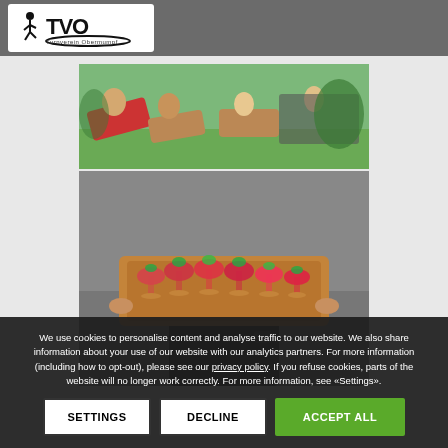TVO Turnverein Obermumpf
[Figure (photo): Outdoor scene with people sitting in lounge chairs and a foosball table in background, sunny day]
[Figure (photo): Person holding a wooden tray with multiple strawberry cocktails in wine glasses garnished with fresh strawberries]
We use cookies to personalise content and analyse traffic to our website. We also share information about your use of our website with our analytics partners. For more information (including how to opt-out), please see our privacy policy. If you refuse cookies, parts of the website will no longer work correctly. For more information, see «Settings».
SETTINGS | DECLINE | ACCEPT ALL